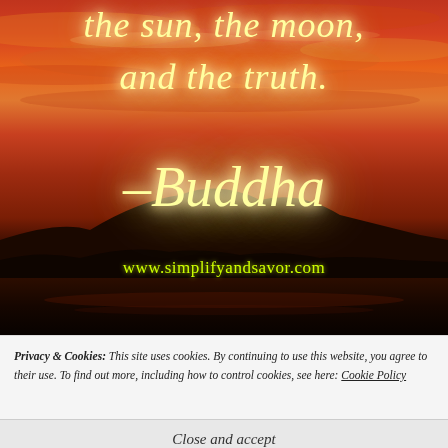[Figure (photo): Sunset landscape photo with vivid orange-red sky, silhouetted mountain and water reflection, overlaid with italic script quote text in glowing yellow: 'the sun, the moon, and the truth. –Buddha' and website URL 'www.simplifyandsavor.com' in yellow-green.]
Privacy & Cookies: This site uses cookies. By continuing to use this website, you agree to their use. To find out more, including how to control cookies, see here: Cookie Policy
Close and accept